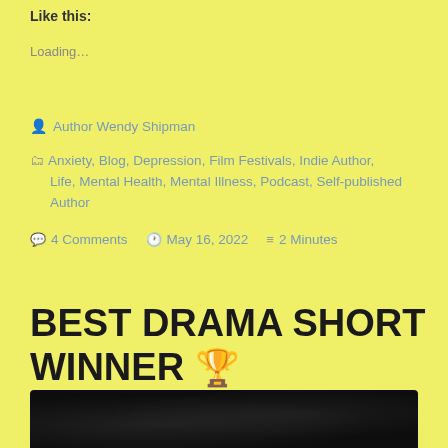Like this:
Loading…
Author Wendy Shipman
Anxiety, Blog, Depression, Film Festivals, Indie Author, Life, Mental Health, Mental Illness, Podcast, Self-published Author
4 Comments   May 16, 2022   2 Minutes
BEST DRAMA SHORT WINNER 🏆
[Figure (photo): Dark image strip at the bottom of the page, likely a film or event photo with dark background and light speckles]